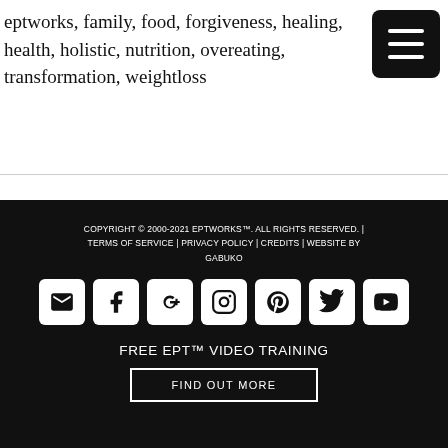eptworks, family, food, forgiveness, healing, health, holistic, nutrition, overeating, transformation, weightloss
COPYRIGHT © 2000-2021 EPTWORKS™. ALL RIGHTS RESERVED. | TERMS OF SERVICE | PRIVACY POLICY | CREDITS | WEBSITE BY GABUKO
[Figure (other): Social media icon buttons: email, facebook, google+, instagram, pinterest, twitter, youtube]
FREE EPT™ VIDEO TRAINING
FIND OUT MORE